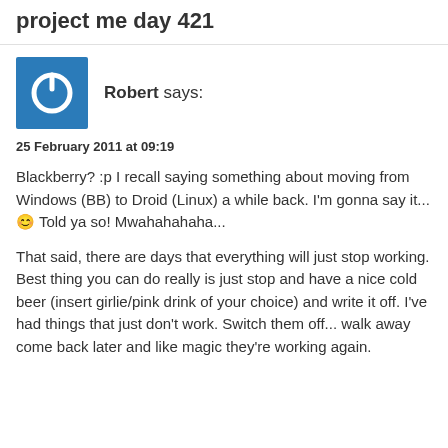project me day 421
[Figure (illustration): Blue square avatar with white power button icon]
Robert says:
25 February 2011 at 09:19
Blackberry? :p I recall saying something about moving from Windows (BB) to Droid (Linux) a while back. I'm gonna say it... 😊 Told ya so! Mwahahahaha...
That said, there are days that everything will just stop working. Best thing you can do really is just stop and have a nice cold beer (insert girlie/pink drink of your choice) and write it off. I've had things that just don't work. Switch them off... walk away come back later and like magic they're working again.